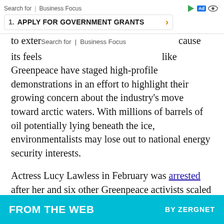to exter... cause its feels... like Greenpeace have staged high-profile demonstrations in an effort to highlight their growing concern about the industry's move toward arctic waters. With millions of barrels of oil potentially lying beneath the ice, environmentalists may lose out to national energy security interests.
Actress Lucy Lawless in February was arrested after her and six other Greenpeace activists scaled the 174-foot drilling tower of the Noble Discovery drillship as it sat in a New Zealand port. Groups like hers have expressed concern that an event like the Deepwater Horizon accident in 2010 would cause irreversible harm to the pristine arctic environment. Nearly six months to the date, however, the drillship left its port in Dutch Harbor, Alaska, unimpeded on its way to the frigid waters of the Chuckchi Sea.
[Figure (other): FROM THE WEB BY ZERGNET advertisement banner in cyan/teal color]